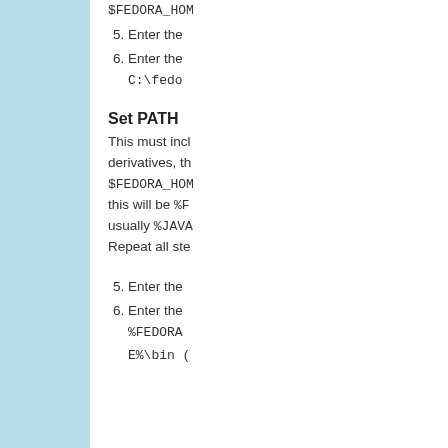$FEDORA_HOME
5. Enter the
6. Enter the C:\fedo
Set PATH
This must incl derivatives, th $FEDORA_HOME this will be %F usually %JAVA Repeat all ste
5. Enter the
6. Enter the %FEDORA E%\bin (